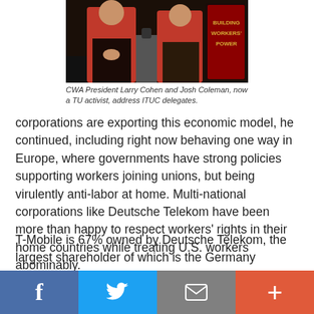[Figure (photo): Two people in red shirts on stage at ITUC conference, with a 'Building Workers Power' sign visible]
CWA President Larry Cohen and Josh Coleman, now a TU activist, address ITUC delegates.
corporations are exporting this economic model, he continued, including right now behaving one way in Europe, where governments have strong policies supporting workers joining unions, but being virulently anti-labor at home. Multi-national corporations like Deutsche Telekom have been more than happy to respect workers' rights in their home countries while treating U.S. workers abominably.
T-Mobile is 67% owned by Deutsche Telekom, the largest shareholder of which is the Germany government. DT's German workforce has bargaining